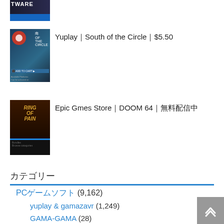[Figure (screenshot): Partial thumbnail of a game store listing at top of page (TWARE text visible)]
Yuplay｜South of the Circle｜$5.50
[Figure (screenshot): Thumbnail of Yuplay South of the Circle game listing showing game art and price $5.50 with Add to Cart button]
Epic Gmes Store｜DOOM 64｜無料配信中
[Figure (screenshot): Thumbnail of Epic Games Store listing showing Ring of Pain game art]
カテゴリー
PCゲームソフト (9,162)
yuplay & gamazavr (1,249)
GAMA-GAMA (28)